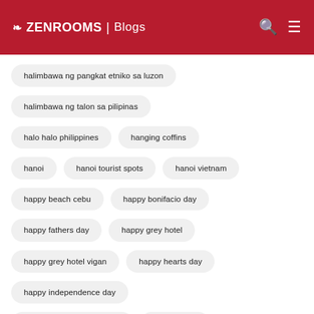ZEN ROOMS | Blogs
halimbawa ng pangkat etniko sa luzon
halimbawa ng talon sa pilipinas
halo halo philippines
hanging coffins
hanoi
hanoi tourist spots
hanoi vietnam
happy beach cebu
happy bonifacio day
happy fathers day
happy grey hotel
happy grey hotel vigan
happy hearts day
happy independence day
happy national heroes day
happy v day